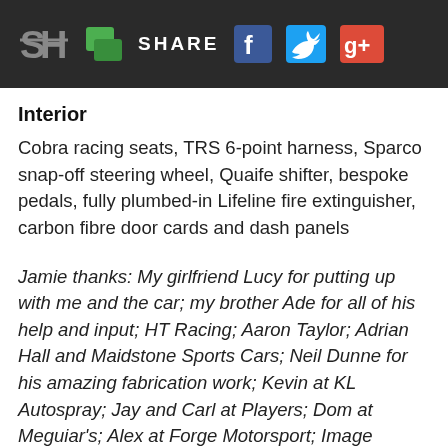SH SHARE
Interior
Cobra racing seats, TRS 6-point harness, Sparco snap-off steering wheel, Quaife shifter, bespoke pedals, fully plumbed-in Lifeline fire extinguisher, carbon fibre door cards and dash panels
Jamie thanks: My girlfriend Lucy for putting up with me and the car; my brother Ade for all of his help and input; HT Racing; Aaron Taylor; Adrian Hall and Maidstone Sports Cars; Neil Dunne for his amazing fabrication work; Kevin at KL Autospray; Jay and Carl at Players; Dom at Meguiar's; Alex at Forge Motorsport; Image